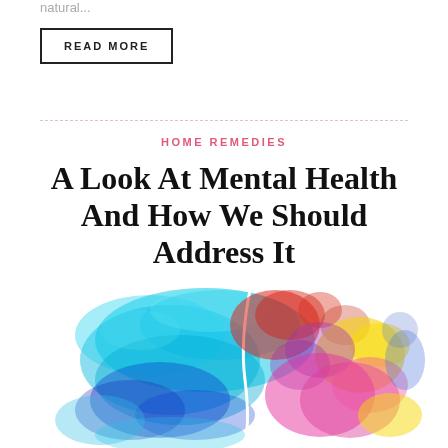natural...
READ MORE
HOME REMEDIES
A Look At Mental Health And How We Should Address It
[Figure (illustration): Colorful watercolor-style illustration of a human brain, split into two halves: left side rendered in shades of blue and teal, right side in vibrant reds, pinks, yellows, and purples, against a white background.]